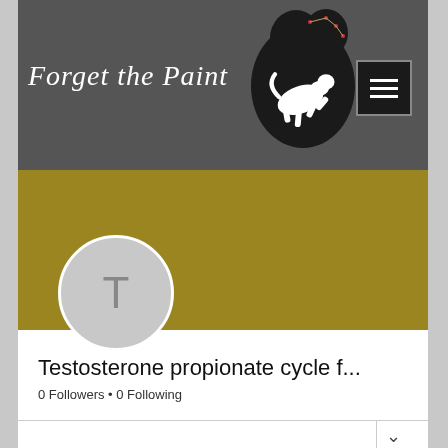[Figure (screenshot): Website banner with dark gray background, cursive 'Forget the Paint' text in white, a black blob-shaped logo with a white leaping cat/dog silhouette and constellation dots, and a dark menu icon with three white horizontal lines.]
[Figure (illustration): Gold/olive colored strip with a Follow button outlined in white and three vertical dots menu on the right side. A circular gray avatar with the letter T overlaps the gold strip.]
Testosterone propionate cycle f...
0 Followers • 0 Following